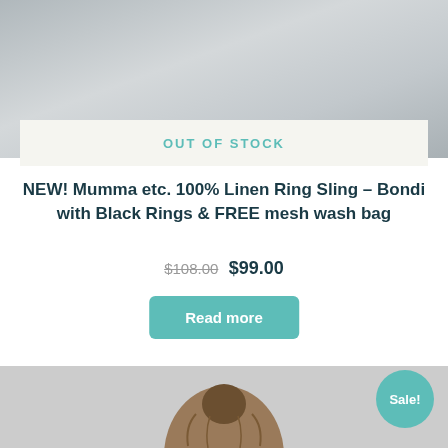[Figure (photo): Top portion of product photo showing a person wearing a linen ring sling, with wooden background elements visible. Partial view.]
OUT OF STOCK
NEW! Mumma etc. 100% Linen Ring Sling – Bondi with Black Rings & FREE mesh wash bag
$108.00 $99.00
Read more
[Figure (photo): Bottom product photo showing a person with hair up in a bun, viewed from above/behind. Sale badge visible in top-right corner.]